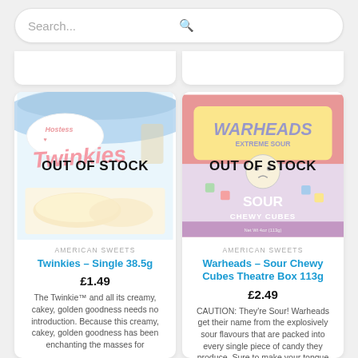[Figure (screenshot): Search bar with placeholder text 'Search...' and a magnifying glass icon]
[Figure (photo): Hostess Twinkies product box image with 'OUT OF STOCK' overlay]
AMERICAN SWEETS
Twinkies – Single 38.5g
£1.49
The Twinkie™ and all its creamy, cakey, golden goodness needs no introduction. Because this creamy, cakey, golden goodness has been enchanting the masses for
[Figure (photo): Warheads Sour Chewy Cubes Theatre Box product image with 'OUT OF STOCK' overlay]
AMERICAN SWEETS
Warheads – Sour Chewy Cubes Theatre Box 113g
£2.49
CAUTION: They're Sour! Warheads get their name from the explosively sour flavours that are packed into every single piece of candy they produce. Sure to make your tongue